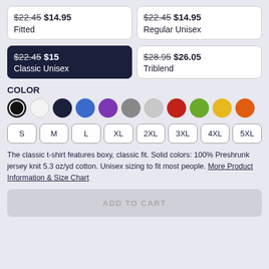$22.45 $14.95 Fitted
$22.45 $14.95 Regular Unisex
$22.45 $15 Classic Unisex (selected)
$28.95 $26.05 Triblend
COLOR
[Figure (infographic): Color swatches: black (selected), white, navy, blue, purple, gray, light gray, red, green, yellow, orange]
[Figure (infographic): Size buttons: S, M, L, XL, 2XL, 3XL, 4XL, 5XL]
The classic t-shirt features boxy, classic fit. Solid colors: 100% Preshrunk jersey knit 5.3 oz/yd cotton. Unisex sizing to fit most people. More Product Information & Size Chart
ADD TO CART